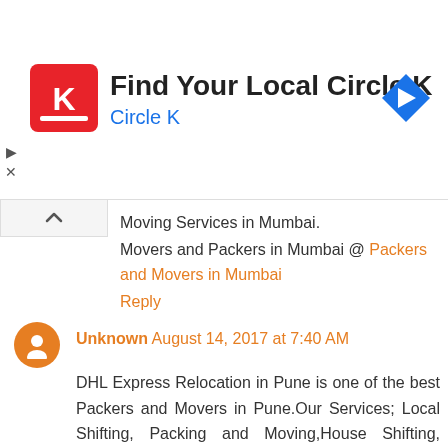[Figure (infographic): Circle K advertisement banner with logo, 'Find Your Local Circle K' title, 'Circle K' subtitle in blue, and a navigation arrow icon on the right. Small play/close controls on the left edge.]
Moving Services in Mumbai.
Movers and Packers in Mumbai @ Packers and Movers in Mumbai
Reply
Unknown August 14, 2017 at 7:40 AM
DHL Express Relocation in Pune is one of the best Packers and Movers in Pune.Our Services; Local Shifting, Packing and Moving,House Shifting, Office Shifting,Car Transportation, Storage Services, Interstate Shifting, Real Estate.